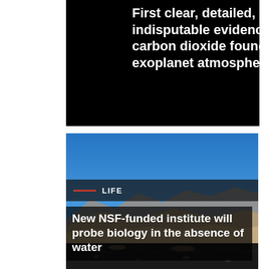First clear, detailed, indisputable evidence of carbon dioxide found in exoplanet atmosphere
[Figure (photo): Desert landscape with blue sky, arid hills and dark volcanic foreground]
LIFE
New NSF-funded institute will probe biology in the absence of water